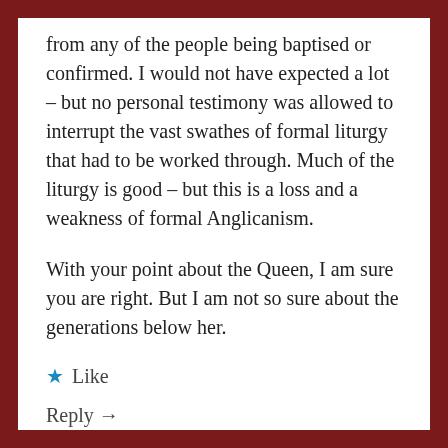from any of the people being baptised or confirmed. I would not have expected a lot – but no personal testimony was allowed to interrupt the vast swathes of formal liturgy that had to be worked through. Much of the liturgy is good – but this is a loss and a weakness of formal Anglicanism.
With your point about the Queen, I am sure you are right. But I am not so sure about the generations below her.
★ Like
Reply →